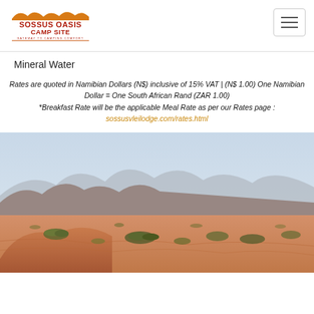Sossus Oasis Camp Site — Gateway to Camping Comfort
Mineral Water
Rates are quoted in Namibian Dollars (N$) inclusive of 15% VAT | (N$ 1.00) One Namibian Dollar = One South African Rand (ZAR 1.00)
*Breakfast Rate will be the applicable Meal Rate as per our Rates page :
sossusvleilodge.com/rates.html
[Figure (photo): Desert landscape with red sand dunes, sparse scrub vegetation, and mountains in the background under a hazy sky — Namibian desert scenery near Sossusvlei.]